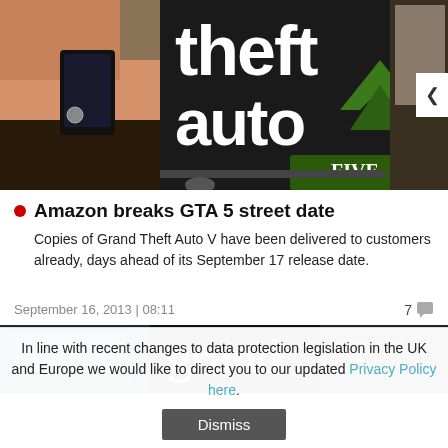[Figure (photo): Grand Theft Auto V game cover art showing characters and the game logo with 'theft auto FIVE' text]
Amazon breaks GTA 5 street date
Copies of Grand Theft Auto V have been delivered to customers already, days ahead of its September 17 release date.
September 16, 2013 | 08:11
7 comments
[Figure (photo): Partial view of a Grand Theft Auto game banner/cover image]
In line with recent changes to data protection legislation in the UK and Europe we would like to direct you to our updated Privacy Policy here.
Dismiss